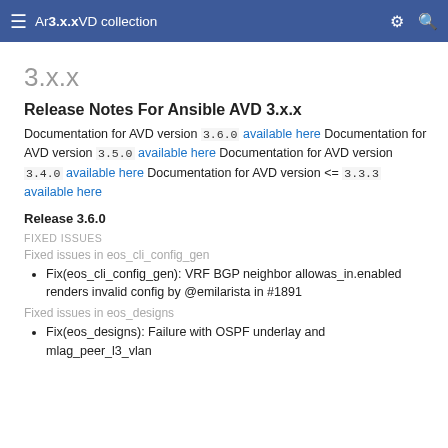3.x.x AVD collection
3.x.x
Release Notes For Ansible AVD 3.x.x
Documentation for AVD version 3.6.0 available here Documentation for AVD version 3.5.0 available here Documentation for AVD version 3.4.0 available here Documentation for AVD version <= 3.3.3 available here
Release 3.6.0
FIXED ISSUES
Fixed issues in eos_cli_config_gen
Fix(eos_cli_config_gen): VRF BGP neighbor allowas_in.enabled renders invalid config by @emilarista in #1891
Fixed issues in eos_designs
Fix(eos_designs): Failure with OSPF underlay and mlag_peer_l3_vlan